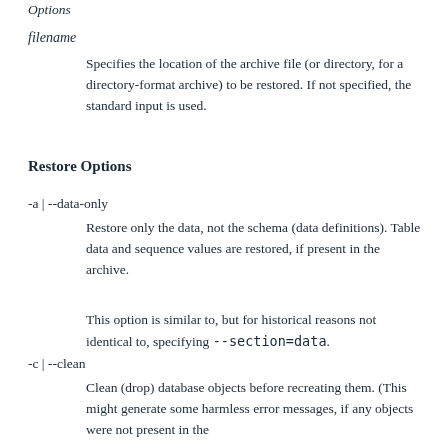Options
filename
Specifies the location of the archive file (or directory, for a directory-format archive) to be restored. If not specified, the standard input is used.
Restore Options
-a | --data-only
Restore only the data, not the schema (data definitions). Table data and sequence values are restored, if present in the archive.
This option is similar to, but for historical reasons not identical to, specifying --section=data.
-c | --clean
Clean (drop) database objects before recreating them. (This might generate some harmless error messages, if any objects were not present in the